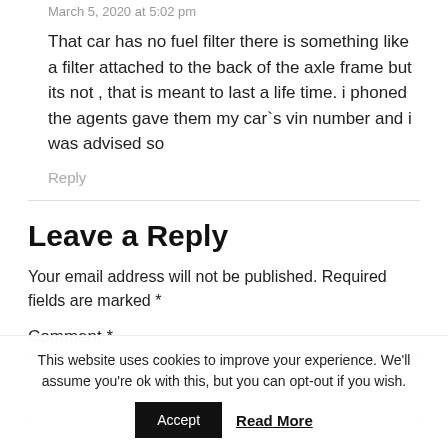March 5, 2020 at 5:02 pm
That car has no fuel filter there is something like a filter attached to the back of the axle frame but its not , that is meant to last a life time. i phoned the agents gave them my car`s vin number and i was advised so
Reply
Leave a Reply
Your email address will not be published. Required fields are marked *
Comment *
This website uses cookies to improve your experience. We'll assume you're ok with this, but you can opt-out if you wish.
Accept
Read More